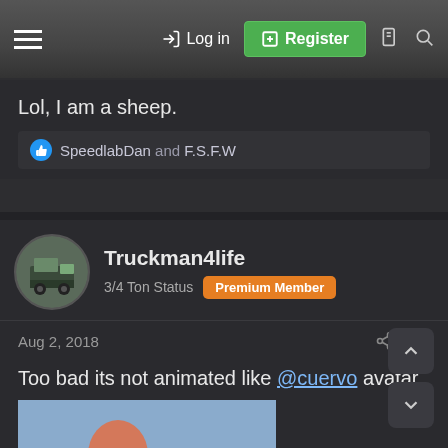Log in | Register
Lol, I am a sheep.
SpeedlabDan and F.S.F.W
Truckman4life — 3/4 Ton Status — Premium Member
Aug 2, 2018  #25
Too bad its not animated like @cuervo avatar
[Figure (photo): Photo of a person from behind at a beach, wearing a bikini bottom.]